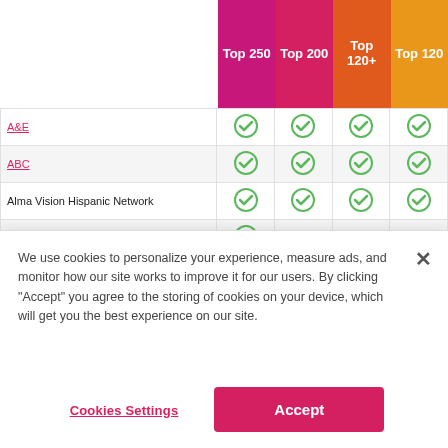[Figure (other): Search bar input with pink search button]
| Channel | Top 250 | Top 200 | Top 120+ | Top 120 |
| --- | --- | --- | --- | --- |
| A&E | ✓ | ✓ | ✓ | ✓ |
| ABC | ✓ | ✓ | ✓ | ✓ |
| Alma Vision Hispanic Network | ✓ | ✓ | ✓ | ✓ |
| American Heroes Channel (AHC) | ✓ |  |  |  |
| Animal Planet | ✓ | ✓ |  |  |
| AXS TV | ✓ | ✓ | ✓ | ✓ |
| BabyFirstTV | ✓ | ✓ | ✓ | ✓ |
We use cookies to personalize your experience, measure ads, and monitor how our site works to improve it for our users. By clicking "Accept" you agree to the storing of cookies on your device, which will get you the best experience on our site.
Cookies Settings
Accept